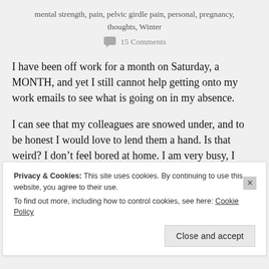mental strength, pain, pelvic girdle pain, personal, pregnancy, thoughts, Winter
15 Comments
I have been off work for a month on Saturday, a MONTH, and yet I still cannot help getting onto my work emails to see what is going on in my absence.
I can see that my colleagues are snowed under, and to be honest I would love to lend them a hand. Is that weird? I don’t feel bored at home. I am very busy, I have a lot of things to organise.
Privacy & Cookies: This site uses cookies. By continuing to use this website, you agree to their use.
To find out more, including how to control cookies, see here: Cookie Policy
Close and accept